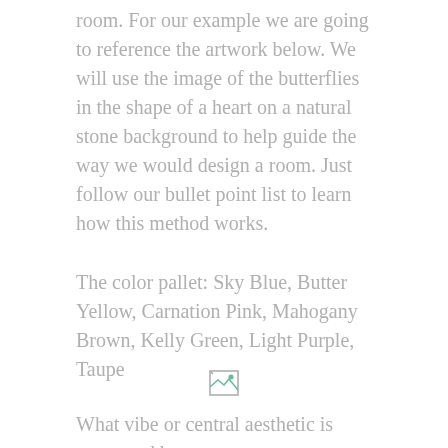room. For our example we are going to reference the artwork below. We will use the image of the butterflies in the shape of a heart on a natural stone background to help guide the way we would design a room. Just follow our bullet point list to learn how this method works.
The color pallet: Sky Blue, Butter Yellow, Carnation Pink, Mahogany Brown, Kelly Green, Light Purple, Taupe
[Figure (photo): Broken/missing image placeholder icon]
What vibe or central aesthetic is suggested by